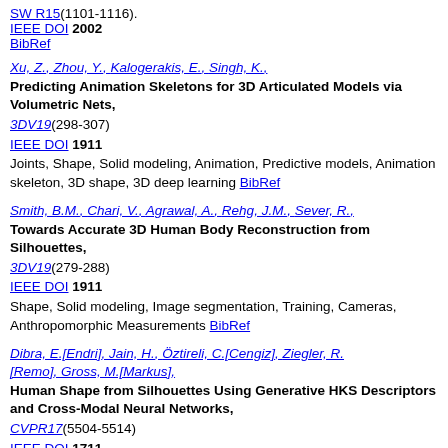SW R15(1101-1116). IEEE DOI 2002 BibRef
Xu, Z., Zhou, Y., Kalogerakis, E., Singh, K., Predicting Animation Skeletons for 3D Articulated Models via Volumetric Nets, 3DV19(298-307) IEEE DOI 1911 Joints, Shape, Solid modeling, Animation, Predictive models, Animation skeleton, 3D shape, 3D deep learning BibRef
Smith, B.M., Chari, V., Agrawal, A., Rehg, J.M., Sever, R., Towards Accurate 3D Human Body Reconstruction from Silhouettes, 3DV19(279-288) IEEE DOI 1911 Shape, Solid modeling, Image segmentation, Training, Cameras, Anthropomorphic Measurements BibRef
Dibra, E.[Endri], Jain, H., Öztireli, C.[Cengiz], Ziegler, R.[Remo], Gross, M.[Markus], Human Shape from Silhouettes Using Generative HKS Descriptors and Cross-Modal Neural Networks, CVPR17(5504-5514) IEEE DOI 1711